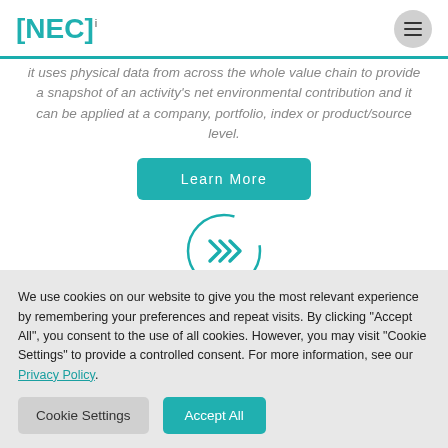[NEC]i
it uses physical data from across the whole value chain to provide a snapshot of an activity's net environmental contribution and it can be applied at a company, portfolio, index or product/source level.
[Figure (illustration): Teal 'Learn More' button]
[Figure (logo): Circular teal icon with double-chevron/arrow symbol]
We use cookies on our website to give you the most relevant experience by remembering your preferences and repeat visits. By clicking "Accept All", you consent to the use of all cookies. However, you may visit "Cookie Settings" to provide a controlled consent. For more information, see our Privacy Policy.
[Figure (illustration): Cookie Settings and Accept All buttons]